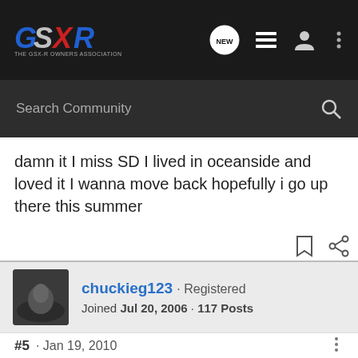GSXR forum header with logo, NEW chat button, list icon, user icon, more icon
Search Community
damn it I miss SD I lived in oceanside and loved it I wanna move back hopefully i go up there this summer
chuckieg123 · Registered
Joined Jul 20, 2006 · 117 Posts
#5 · Jan 19, 2010